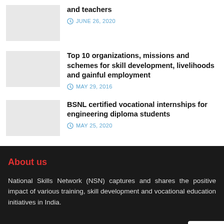and teachers
JUNE 26, 2020
Top 10 organizations, missions and schemes for skill development, livelihoods and gainful employment
MAY 29, 2016
BSNL certified vocational internships for engineering diploma students
MAY 25, 2020
About us
National Skills Network (NSN) captures and shares the positive impact of various training, skill development and vocational education initiatives in India.